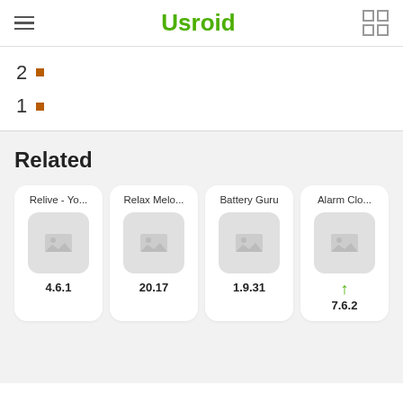Usroid
2
1
Related
[Figure (infographic): Four app cards: Relive - Yo... (4.6.1), Relax Melo... (20.17), Battery Guru (1.9.31), Alarm Clo... (7.6.2 with up arrow)]